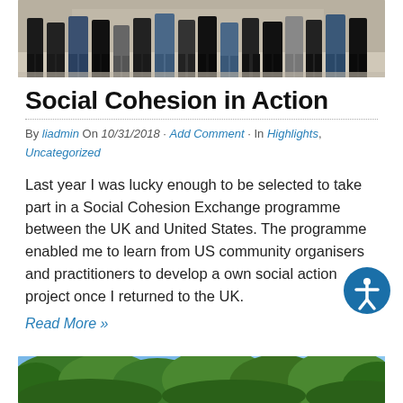[Figure (photo): Group photo showing legs and feet of multiple people standing together, viewed from below waist level]
Social Cohesion in Action
By liadmin On 10/31/2018 · Add Comment · In Highlights, Uncategorized
Last year I was lucky enough to be selected to take part in a Social Cohesion Exchange programme between the UK and United States. The programme enabled me to learn from US community organisers and practitioners to develop a own social action project once I returned to the UK.
Read More »
[Figure (photo): Outdoor photo showing trees with green foliage against a blue sky]